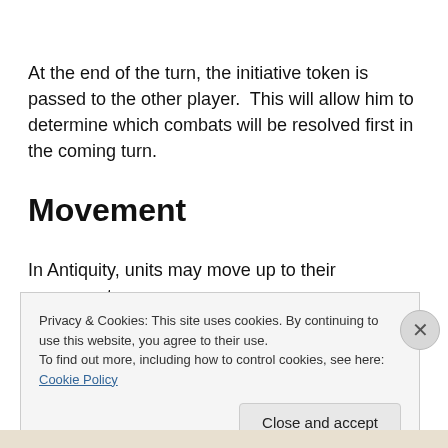At the end of the turn, the initiative token is passed to the other player.  This will allow him to determine which combats will be resolved first in the coming turn.
Movement
In Antiquity, units may move up to their movement
Privacy & Cookies: This site uses cookies. By continuing to use this website, you agree to their use.
To find out more, including how to control cookies, see here: Cookie Policy